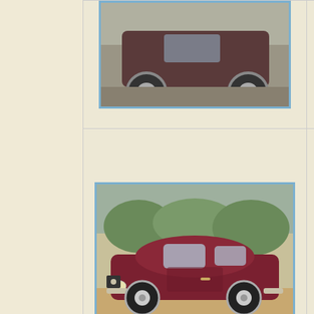[Figure (photo): Top portion of a classic car photo (partial view, cut off at top)]
rebuilt and Brunello with a 5-s rear axle
[Figure (photo): Australian flag icon]
K After own ten years change. MGZA fro (Perth WA having it Bendigo, workshop hoses an pins and a recondi yokes, th be a daily with the M cruises n at 110Kp has been my wife i
[Figure (photo): Dark red/maroon classic coupe car (MG or similar) parked outdoors, side profile view]
7116